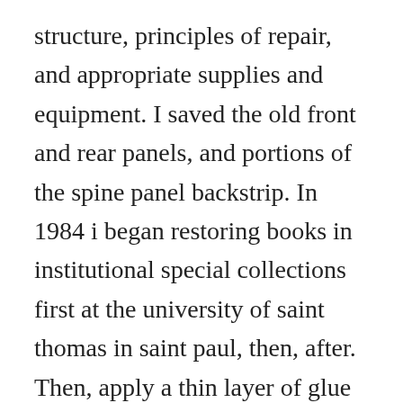structure, principles of repair, and appropriate supplies and equipment. I saved the old front and rear panels, and portions of the spine panel backstrip. In 1984 i began restoring books in institutional special collections first at the university of saint thomas in saint paul, then, after. Then, apply a thin layer of glue to the spot where the page fell out of the book, and set the page so the end is reattached to the spine. When repairing pages, i like to use one of brodarts book repair glues. Repair of leather bindings, cloth bindings, albums, and other items. Children book repair for torn